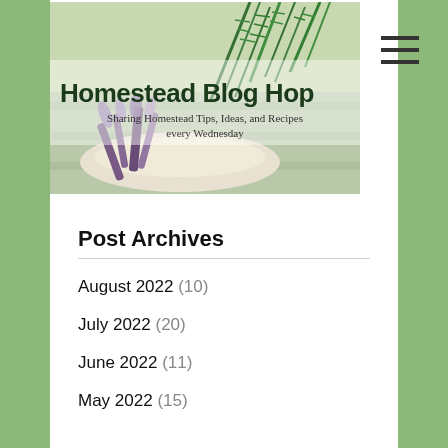[Figure (photo): Homestead Blog Hop banner image with herbs (rosemary, lavender) in a bowl on a white wood surface. Text overlay reads 'Homestead Blog Hop' and 'Sharing Homestead Tips, Ideas, and Recipes every Wednesday']
Post Archives
August 2022 (10)
July 2022 (20)
June 2022 (11)
May 2022 (15)